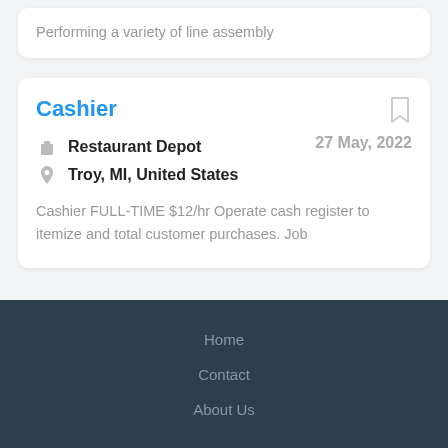Performing a variety of line assembly
Cashier
Restaurant Depot
Troy, MI, United States
27 May, 2022
Cashier FULL-TIME $12/hr Operate cash register to itemize and total customer purchases. Job
Home
Contact
About Us